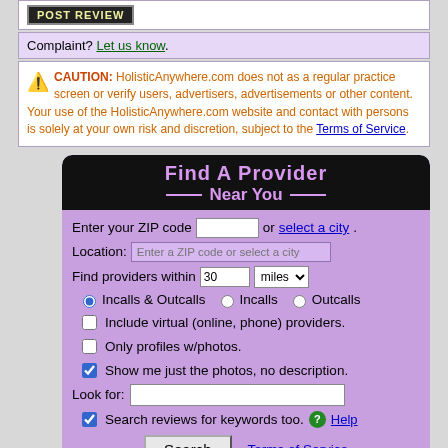[Figure (screenshot): Partial top banner with logo/branding, cropped at top]
Complaint? Let us know.
CAUTION: HolisticAnywhere.com does not as a regular practice screen or verify users, advertisers, advertisements or other content. Your use of the HolisticAnywhere.com website and contact with persons is solely at your own risk and discretion, subject to the Terms of Service.
Find A Provider Near You
Enter your ZIP code [input] or select a city.
Location: Enter a ZIP code or select a city
Find providers within 30 miles
Incalls & Outcalls   Incalls   Outcalls
Include virtual (online, phone) providers.
Only profiles w/photos.
Show me just the photos, no description.
Look for:
Search reviews for keywords too. Help
Search   Terms of Service